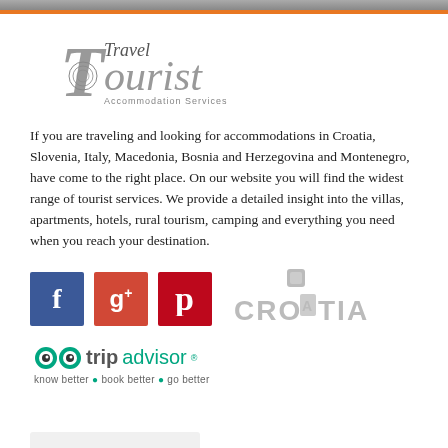[Figure (logo): Travel Tourist Accommodation Services logo with stylized text]
If you are traveling and looking for accommodations in Croatia, Slovenia, Italy, Macedonia, Bosnia and Herzegovina and Montenegro, have come to the right place. On our website you will find the widest range of tourist services. We provide a detailed insight into the villas, apartments, hotels, rural tourism, camping and everything you need when you reach your destination.
[Figure (logo): Social media icons: Facebook, Google+, Pinterest, and Croatia tourism logo]
[Figure (logo): TripAdvisor logo with tagline: know better • book better • go better]